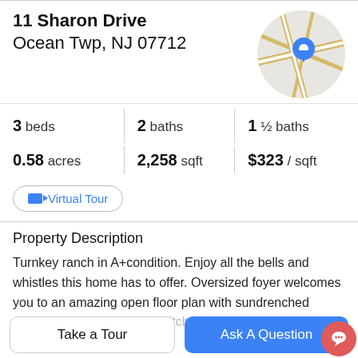11 Sharon Drive
Ocean Twp, NJ 07712
[Figure (map): Circular map thumbnail showing location with a blue pin marker on a street map with tan/gold roads]
3 beds   2 baths   1 ½ baths
0.58 acres   2,258 sqft   $323 / sqft
Virtual Tour
Property Description
Turnkey ranch in A+condition. Enjoy all the bells and whistles this home has to offer. Oversized foyer welcomes you to an amazing open floor plan with sundrenched
spacious rooms. Gourmet kitchen with granite center
Take a Tour
Ask A Question